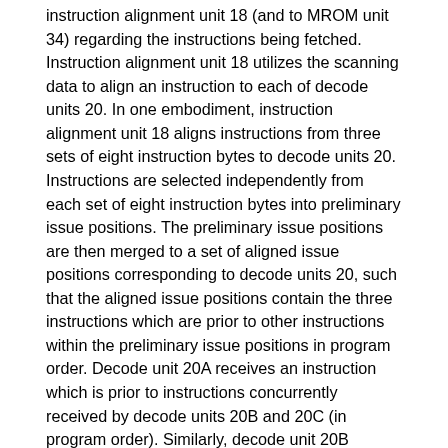instruction alignment unit 18 (and to MROM unit 34) regarding the instructions being fetched. Instruction alignment unit 18 utilizes the scanning data to align an instruction to each of decode units 20. In one embodiment, instruction alignment unit 18 aligns instructions from three sets of eight instruction bytes to decode units 20. Instructions are selected independently from each set of eight instruction bytes into preliminary issue positions. The preliminary issue positions are then merged to a set of aligned issue positions corresponding to decode units 20, such that the aligned issue positions contain the three instructions which are prior to other instructions within the preliminary issue positions in program order. Decode unit 20A receives an instruction which is prior to instructions concurrently received by decode units 20B and 20C (in program order). Similarly, decode unit 20B receives an instruction which is prior to the instruction concurrently received by decode unit 20C in program order.
Decode units 20 are configured to decode instructions received from instruction alignment unit 18. Register operand information is detected and routed to register file 30 and reorder buffer 32. Additionally, if the instructions